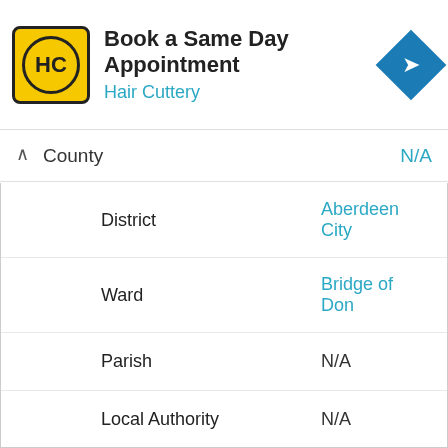[Figure (logo): Hair Cuttery advertisement banner with HC logo, text 'Book a Same Day Appointment' and 'Hair Cuttery', and a blue directional arrow icon]
| Field | Value |
| --- | --- |
| County | N/A |
| District | Aberdeen City |
| Ward | Bridge of Don |
| Parish | N/A |
| Local Authority | N/A |
| Constituency | Gordon |
| Region | N/A |